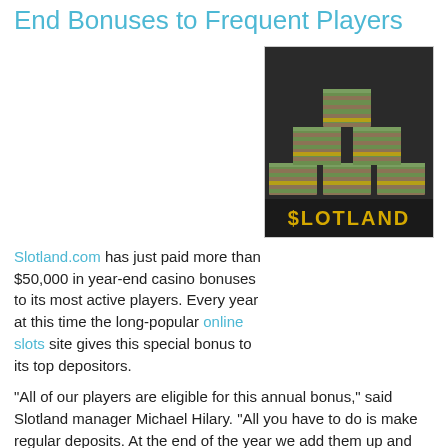End Bonuses to Frequent Players
Slotland.com has just paid more than $50,000 in year-end casino bonuses to its most active players. Every year at this time the long-popular online slots site gives this special bonus to its top depositors.
[Figure (photo): Stack of US dollar bills bundles in a pyramid arrangement with a dark background, with gold/yellow text '$LOTLAND' at the bottom]
“All of our players are eligible for this annual bonus,” said Slotland manager Michael Hilary. “All you have to do is make regular deposits. At the end of the year we add them up and divvy up the $55K between our top depositors.”
Thirty lucky players were selected to share the fantastic prize pool of $55,500. A player known as “HEERSINK”, who had the highest deposit total for 2011, received a staggering $15,000. “CAR429” received a $10,000 casino bonus and “GIDGET920” got $5000. A complete list of winners and their prizes is on the casino web site: www.slotland.com/em/s2p/2012/0111/index.html.